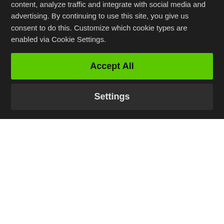Fintech Nexus News
guests. I'm delighted to welcome the two co-founders of StreetShares, Mark Rockefeller who is the CEO and Mickey Konson who is the COO. These gentlemen met about three years ago and they had a shared vision, they wanted to do
We use cookies to enable website features, personalize content, analyze traffic and integrate with social media and advertising. By continuing to use this site, you give us consent to do this. Customize which cookie types are enabled via Cookie Settings.
Accept All
Settings